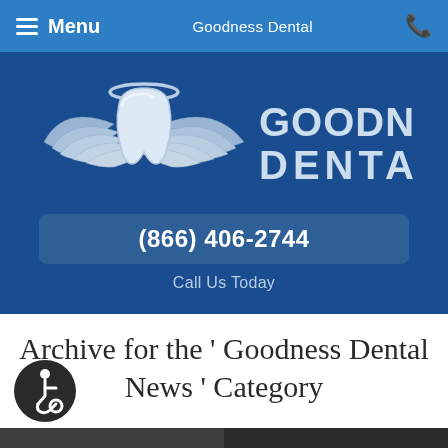≡ Menu   Goodness Dental   ☎
[Figure (logo): Goodness Dental logo: winged tooth with halo and text GOODNESS DENTAL]
(866) 406-2744
Call Us Today
Archive for the ' Goodness Dental News ' Category
[Figure (illustration): Accessibility wheelchair icon button (circular dark button)]